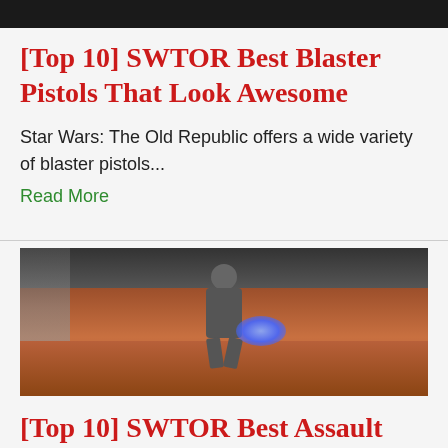[Figure (photo): Dark top bar from a previous article image (partially visible)]
[Top 10] SWTOR Best Blaster Pistols That Look Awesome
Star Wars: The Old Republic offers a wide variety of blaster pistols...
Read More
[Figure (photo): Video game screenshot of an armored character wielding a weapon with a blue energy glow, standing on a red/brown desert terrain with a waterfall in the background]
[Top 10] SWTOR Best Assault Cannons That